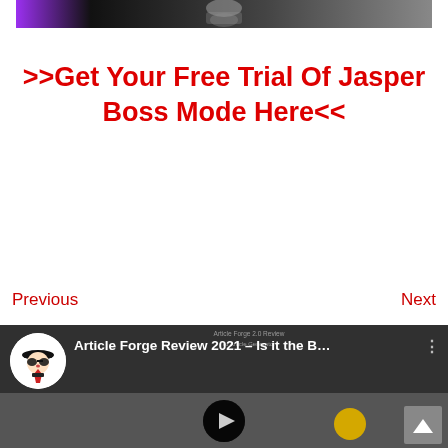[Figure (screenshot): Cropped hero image of a robot/AI figure with purple accent, dark background]
>>Get Your Free Trial Of Jasper Boss Mode Here<<
Previous
Next
[Figure (screenshot): YouTube video thumbnail: Article Forge Review 2021 – Is it the B... with channel icon showing a masked spy figure]